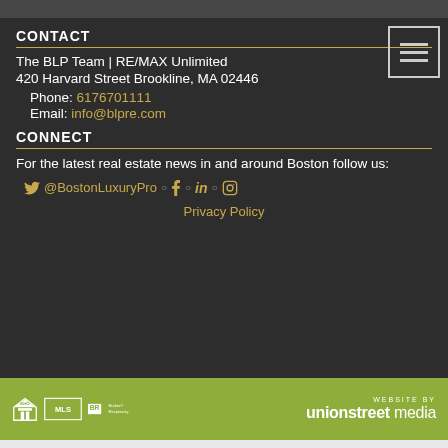[Figure (screenshot): Top dark image strip showing people]
CONTACT
The BLP Team | RE/MAX Unlimited
420 Harvard Street Brookline, MA 02446
Phone: 6176701111
Email: info@blpre.com
CONNECT
For the latest real estate news in and around Boston follow us:
@BostonLuxuryPro (Twitter, Facebook, LinkedIn, Instagram)
Privacy Policy
[Figure (logo): Footer with Equal Housing, MLS, Broker Reciprocity logos and Union Street Media website credit]